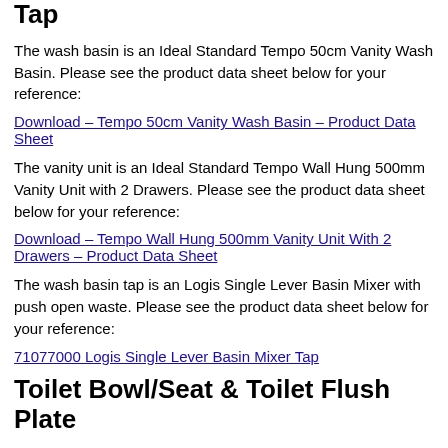Tap
The wash basin is an Ideal Standard Tempo 50cm Vanity Wash Basin. Please see the product data sheet below for your reference:
Download – Tempo 50cm Vanity Wash Basin – Product Data Sheet
The vanity unit is an Ideal Standard Tempo Wall Hung 500mm Vanity Unit with 2 Drawers. Please see the product data sheet below for your reference:
Download – Tempo Wall Hung 500mm Vanity Unit With 2 Drawers – Product Data Sheet
The wash basin tap is an Logis Single Lever Basin Mixer with push open waste. Please see the product data sheet below for your reference:
71077000 Logis Single Lever Basin Mixer Tap
Toilet Bowl/Seat & Toilet Flush Plate
The toilet bowl/seat is an Ideal Standard Sottino Isarca Wall Mounted WC Suite. Please see the product data sheet below for